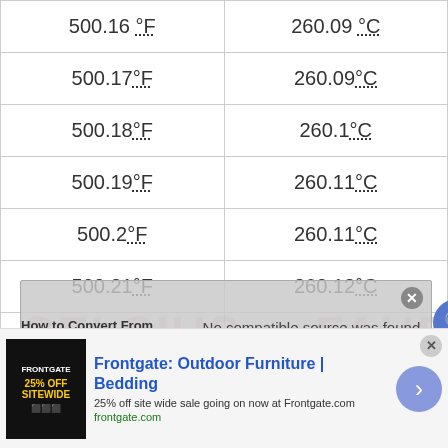| °F | °C |
| --- | --- |
| 500.16°F | 260.09°C |
| 500.17°F | 260.09°C |
| 500.18°F | 260.1°C |
| 500.19°F | 260.11°C |
| 500.2°F | 260.11°C |
| 500.21°F | 260.12°C |
| 500.22°F | 260.12°C |
| 500.23°F | 260.13°C |
| 500.24°F | 260.13°C |
[Figure (screenshot): Video overlay: 'How to Convert From Fahrenheit to C...' with 'No compatible source was found for this media.' error message, background shows CELSIUS to FAHRENHEIT conversion graphic]
[Figure (screenshot): Advertisement: Frontgate: Outdoor Furniture | Bedding — 25% off site wide sale going on now at Frontgate.com]